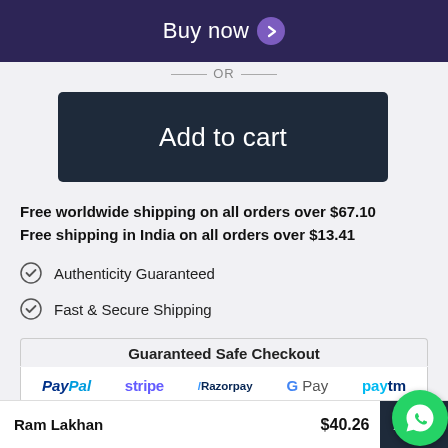[Figure (screenshot): Buy now button with purple arrow on dark purple background]
— OR —
[Figure (screenshot): Add to cart dark navy button]
Free worldwide shipping on all orders over $67.10
Free shipping in India on all orders over $13.41
Authenticity Guaranteed
Fast & Secure Shipping
Guaranteed Safe Checkout
[Figure (infographic): Payment logos: PayPal, stripe, Razorpay, G Pay, paytm]
Ram Lakhan   $40.26   Add to